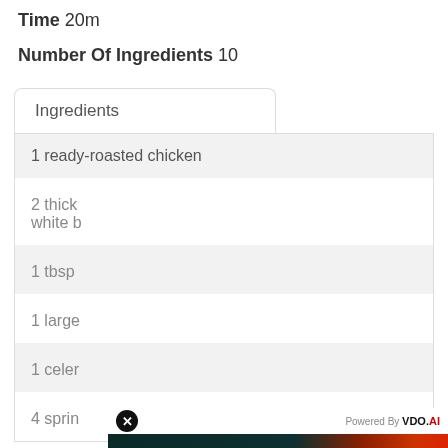Time 20m
Number Of Ingredients 10
Ingredients
1 ready-roasted chicken
2 thick ... white b...
1 tbsp ...
1 large ...
1 celer...
4 sprin...
[Figure (screenshot): Video player overlay popup showing 'No compatible source was found for this media.' with HEA X branding on a teal/dark background with heat map pattern, VDO.AI branding bar, and close button]